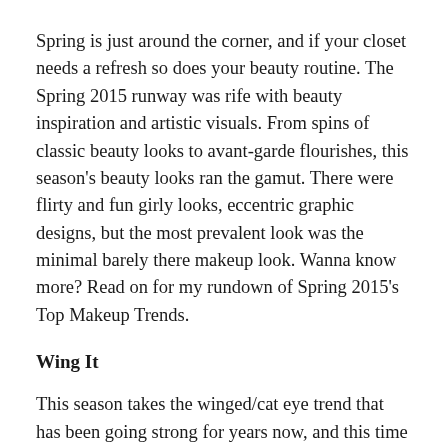Spring is just around the corner, and if your closet needs a refresh so does your beauty routine. The Spring 2015 runway was rife with beauty inspiration and artistic visuals. From spins of classic beauty looks to avant-garde flourishes, this season's beauty looks ran the gamut. There were flirty and fun girly looks, eccentric graphic designs, but the most prevalent look was the minimal barely there makeup look. Wanna know more? Read on for my rundown of Spring 2015's Top Makeup Trends.
Wing It
This season takes the winged/cat eye trend that has been going strong for years now, and this time around the industry has upgraded it and made it more dramatic and geometric. You can either go for a fully lined cat eye look in blue liner or a heavily drawn on top liner with a futuristic feel, either way a more pronounced cat